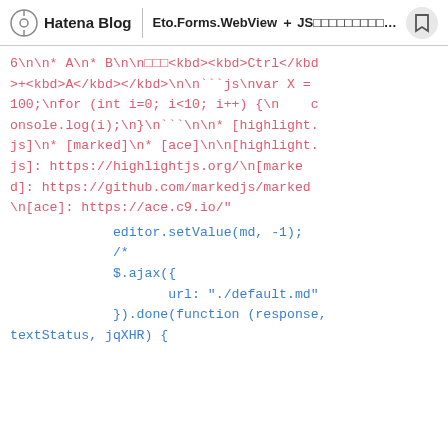Hatena Blog | Eto.Forms.WebView JS Ac...
6\n\n* A\n* B\n\n□□□<kbd><kbd>Ctrl</kbd>+<kbd>A</kbd></kbd>\n\n```js\nvar X = 100;\nfor (int i=0; i<10; i++) {\n    console.log(i);\n}\n```\n\n* [highlight.js]\n* [marked]\n* [ace]\n\n[highlight.js]: https://highlightjs.org/\n[marked]: https://github.com/markedjs/marked\n[ace]: https://ace.c9.io/"
editor.setValue(md, -1);
/*
$.ajax({
    url: "./default.md"
}).done(function (response, textStatus, jqXHR) {